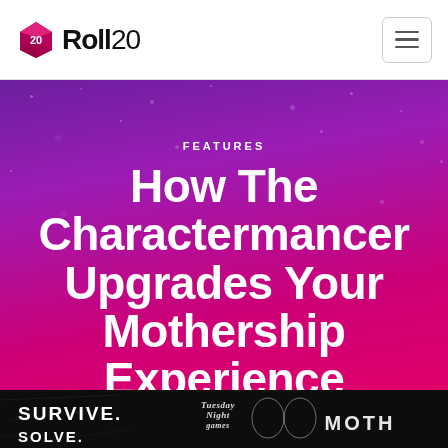Roll20
FEATURES
How The Charactermancer Upgrades Your Mothership Experience
JUN 17, 2021
[Figure (photo): Mothership RPG game cover / promotional image with text SURVIVE. SOLVE. MOTHERSHIP, Tuesday Knight Games logo and award laurels on dark background]